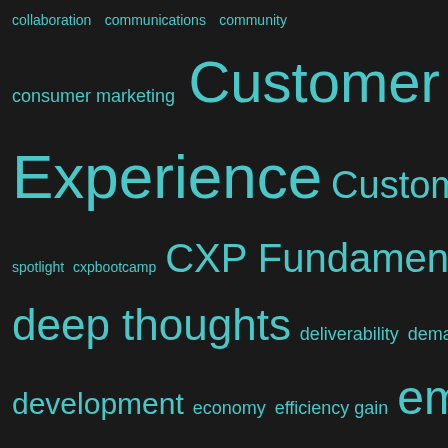[Figure (infographic): Word cloud on dark background with teal/cyan colored words of varying sizes representing marketing and customer experience topics. Words include: collaboration, communications, community, consumer marketing, Customer, Experience, Customer Service, customer, spotlight, cxpbootcamp, CXP Fundamentals, deep thoughts, deliverability, demandforce, development, economy, efficiency gain, email, email best practices, Email Marketing, email reporting, emarketing, entrepreneurialship, facebook, gainsight, generation y, google, google local, google places, holiday, iphone, Leadership, Management, marketing, Marketing]